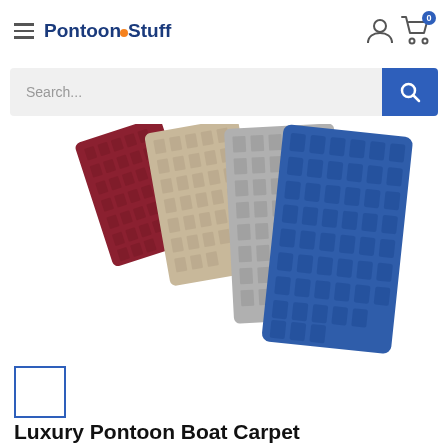PontoonStuff
Search...
[Figure (photo): Four carpet samples fanned out showing different colors: burgundy/red, beige/tan, gray, and blue. Textured woven marine carpet swatches displayed on white background.]
[Figure (photo): Small thumbnail image selector box with blue border, empty/white]
Luxury Pontoon Boat Carpet